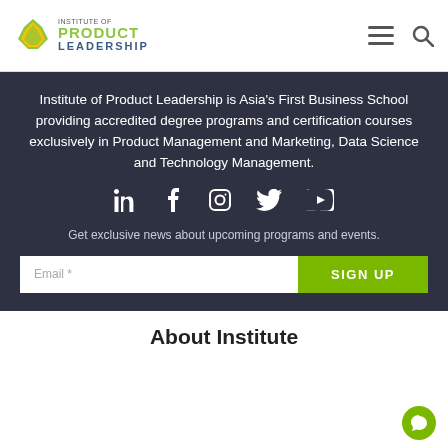Institute of Product Leadership logo, hamburger menu, search icon
Institute of Product Leadership is Asia’s First Business School providing accredited degree programs and certification courses exclusively in Product Management and Marketing, Data Science and Technology Management.
[Figure (infographic): Social media icons: LinkedIn, Facebook, Instagram, Twitter, YouTube]
Get exclusive news about upcoming programs and events.
Email * [input field] SIGN UP [button]
About Institute